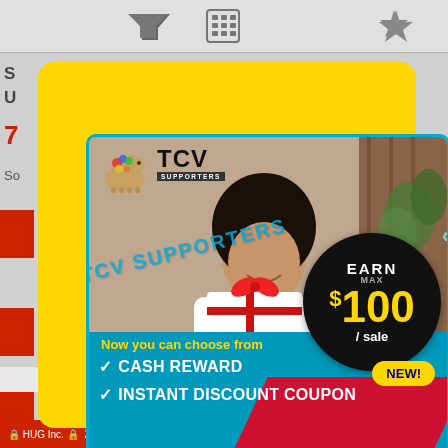[Figure (screenshot): Mobile app background showing car listing interface with toolbar icons (filter, calculator, star), red listing bars, car listing text partially visible, bottom navigation bar, and 'Top of Page' button]
[Figure (infographic): TCV Supporters advertisement modal with yellow border, teal inner border. Shows young man holding gift box. TCV Supporters logo top left. Black circle badge: EARN MAX $100 / sale. Yellow speech bubble: NEW! Teal lower section: 'Now you can choose from' in yellow, white checkmarks for CASH REWARD and INSTANT DISCOUNT COUPON. Red button: For More Details.]
Now you can choose from
CASH REWARD
INSTANT DISCOUNT COUPON
For More Details
105,000km / 2,000cc / 4WD / Manual
2004 Subaru Impreza Wrx Sti